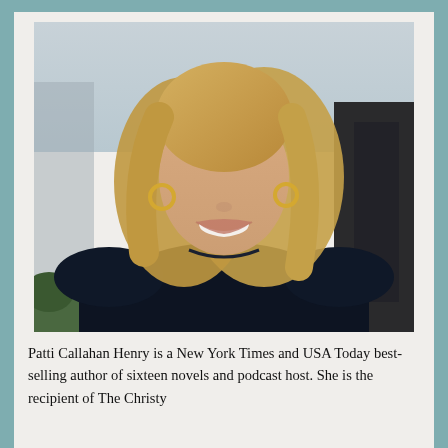[Figure (photo): Professional headshot of Patti Callahan Henry, a blonde woman smiling, wearing a dark navy top and gold hoop earrings, photographed outdoors with a blurred urban background]
Patti Callahan Henry is a New York Times and USA Today best-selling author of sixteen novels and podcast host. She is the recipient of The Christy